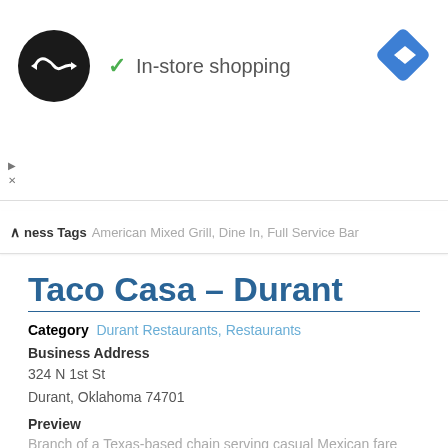[Figure (logo): Black circular logo with double-headed arrow icon and 'In-store shopping' checkmark text, plus blue diamond navigation icon]
Business Tags  American Mixed Grill, Dine In, Full Service Bar
Taco Casa – Durant
Category  Durant Restaurants, Restaurants
Business Address
324 N 1st St
Durant, Oklahoma 74701
Preview
Branch of a Texas-based chain serving casual Mexican fare such as tacos, burritos & nachos.
Business Tags  Dine In, Drive Thru, Mexican Restaurant, Takeout